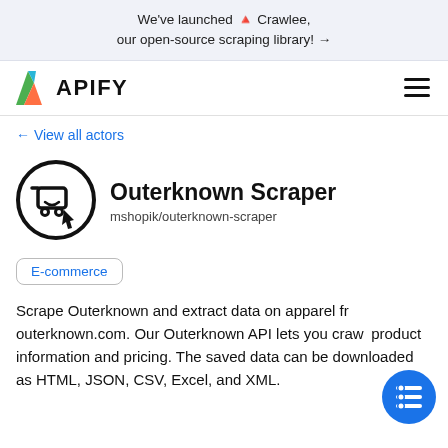We've launched 🔺 Crawlee, our open-source scraping library! →
[Figure (logo): Apify logo with green and orange chevron icon and bold APIFY text]
← View all actors
Outerknown Scraper
mshopik/outerknown-scraper
E-commerce
Scrape Outerknown and extract data on apparel from outerknown.com. Our Outerknown API lets you crawl product information and pricing. The saved data can be downloaded as HTML, JSON, CSV, Excel, and XML.